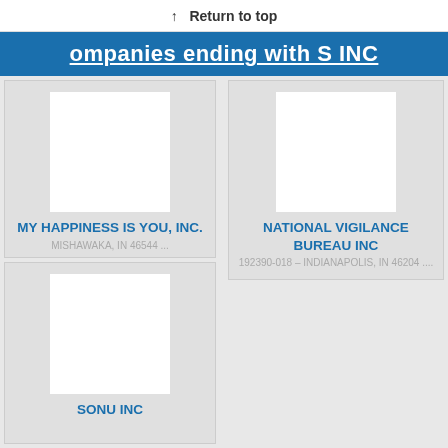↑ Return to top
Companies ending with S INC
[Figure (illustration): Placeholder image for MY HAPPINESS IS YOU, INC.]
MY HAPPINESS IS YOU, INC.
MISHAWAKA, IN 46544 ...
[Figure (illustration): Placeholder image for NATIONAL VIGILANCE BUREAU INC]
NATIONAL VIGILANCE BUREAU INC
192390-018 – INDIANAPOLIS, IN 46204 ....
[Figure (illustration): Placeholder image for SONU INC]
SONU INC